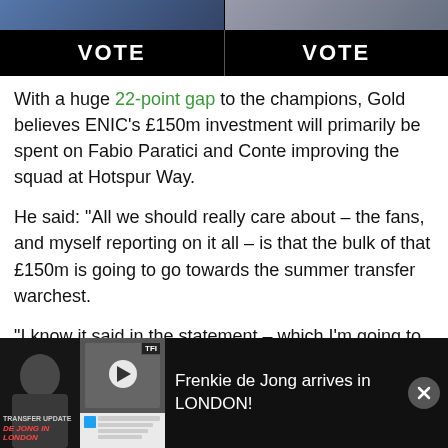[Figure (screenshot): Image strip at top with two side-by-side images (left: person with blue background, right: darker background)]
[Figure (other): VOTE buttons bar — two black buttons side by side reading VOTE in white text]
With a huge 22-point gap to the champions, Gold believes ENIC's £150m investment will primarily be spent on Fabio Paratici and Conte improving the squad at Hotspur Way.
He said: “All we should really care about – the fans, and myself reporting on it all – is that the bulk of that £150m is going to go towards the summer transfer warchest.
“I know it said in the statement – which I’m going to read out so we have all the technical stuff – I know it said it will go towards on pitch and off-pitch stuff. But I’m told the bulk
[Figure (screenshot): Notification bar at bottom: Frenkie de Jong arrives in LONDON! with video thumbnail showing TRANSFER UPDATE DE JONG IN LONDON and a play button]